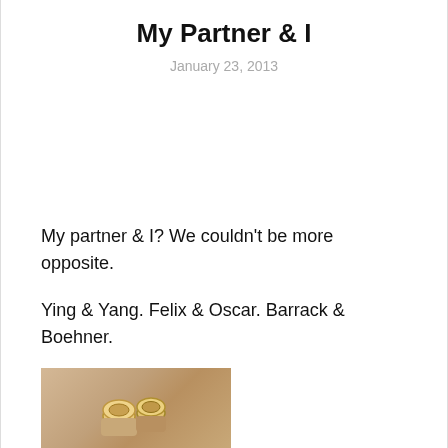My Partner & I
January 23, 2013
My partner & I?  We couldn't be more opposite.
Ying & Yang.  Felix & Oscar.  Barrack & Boehner.
[Figure (photo): Close-up photo of two hands with rings, likely wedding or engagement rings, showing intertwined fingers.]